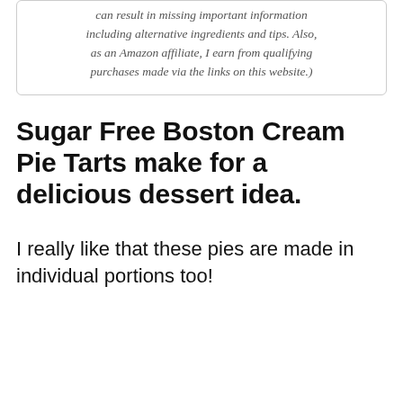can result in missing important information including alternative ingredients and tips. Also, as an Amazon affiliate, I earn from qualifying purchases made via the links on this website.)
Sugar Free Boston Cream Pie Tarts make for a delicious dessert idea.
I really like that these pies are made in individual portions too!